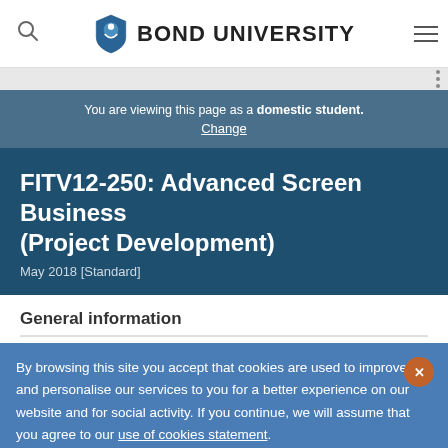Bond University
You are viewing this page as a domestic student. Change
FITV12-250: Advanced Screen Business (Project Development)
May 2018 [Standard]
General information
By browsing this site you accept that cookies are used to improve and personalise our services to you for a better experience on our website and for social activity. If you continue, we will assume that you agree to our use of cookies statement.